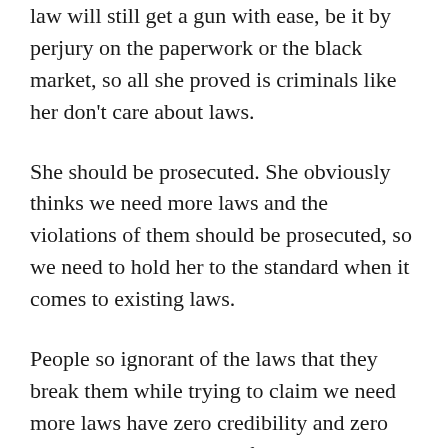law will still get a gun with ease, be it by perjury on the paperwork or the black market, so all she proved is criminals like her don't care about laws.
She should be prosecuted. She obviously thinks we need more laws and the violations of them should be prosecuted, so we need to hold her to the standard when it comes to existing laws.
People so ignorant of the laws that they break them while trying to claim we need more laws have zero credibility and zero legitimacy when calling for new laws- they don't even